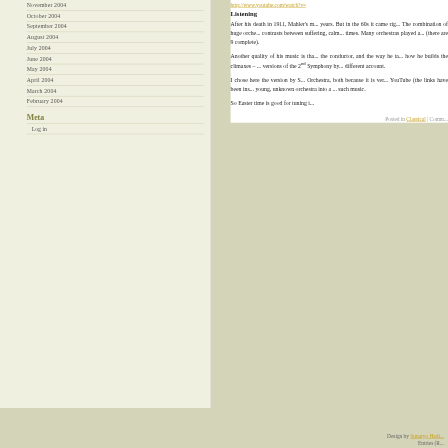November 2004
October 2004
September 2004
August 2004
July 2004
June 2004
May 2004
April 2004
March 2004
February 2004
Meta
Log in
http://www.youtube.com/watch?v=...
Listening
After his death in 1911, Mahler's music was forgotten for many years. But in the 60s it came right back into fashion. The combination of huge orchestras, long symphonies and the contrasts between suffering, calm and triumph fits our times. Many orchestras played and recorded his symphonies (there are 9 complete).
Another quality of his music is that it depends heavily on the conductor, and the way he takes the tempos and how he builds the climaxes – I listened to several versions of the 2nd Symphony by different conductors, all different account.
I chose here the version by S... Orchestra, both because it is very... YouTube (the links have been ins... young, unknown orchestra into a ... such music.
So Easter time is good for tuning i...
Posted in Classical | Comm...
Design by Sunaryo Hadi... Entries (R...